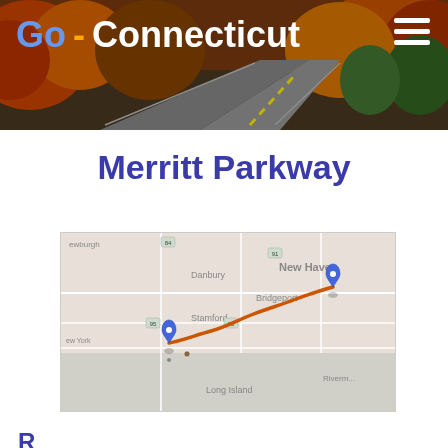Go-Connecticut
Merritt Parkway
[Figure (map): Google Maps screenshot showing the route of the Merritt Parkway in Connecticut, with two blue pin markers connected by an orange route line running from the Stamford area to the New Haven/Bridgeport area. Surrounding area labels include Danbury, New Haven, Bridgeport, Stamford, Riverhead, Long Island, New York, and Newburgh.]
R...